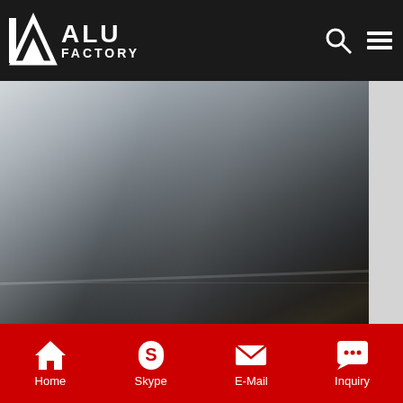ALU FACTORY
[Figure (photo): Aluminum foil sheets stacked, showing metallic silver surface with reflective sheen, dark background]
chocolate wrapping sheet- Aluminum/Al foil,plate/sheet Foil Only Single Sheets Wholesale - Candy WrapperFoil Wrappers for overwrapping 1.55 oz Candy Bars Size6 x 7.5 inches Minimum40 sheets per color Weight30 lb paper backed
Get Price
[Figure (photo): Industrial warehouse or factory interior with high ceiling, large windows, bright lighting]
Home  Skype  E-Mail  Inquiry